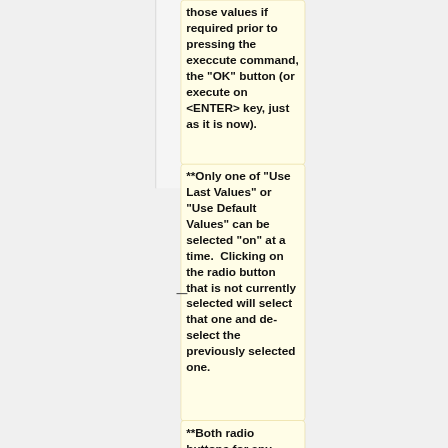those values if required prior to pressing the execcute command, the "OK" button (or execute on <ENTER> key, just as it is now).
**Only one of "Use Last Values" or "Use Default Values" can be selected "on" at a time.  Clicking on the radio button that is not currently selected will select that one and de-select the previously selected one.
**Both radio buttons for any